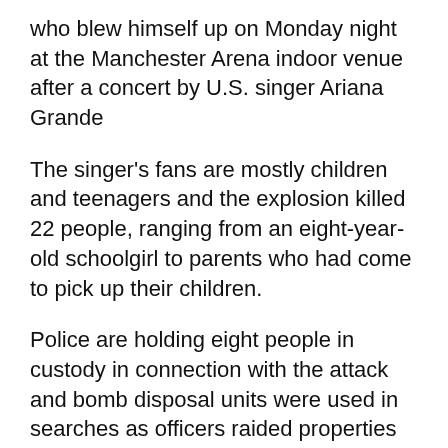who blew himself up on Monday night at the Manchester Arena indoor venue after a concert by U.S. singer Ariana Grande
The singer's fans are mostly children and teenagers and the explosion killed 22 people, ranging from an eight-year-old schoolgirl to parents who had come to pick up their children.
Police are holding eight people in custody in connection with the attack and bomb disposal units were used in searches as officers raided properties across the city.
In the nearby town of Wigan, where a man was arrested on Wednesday, police said they had discovered potentially suspicious items, prompting them to